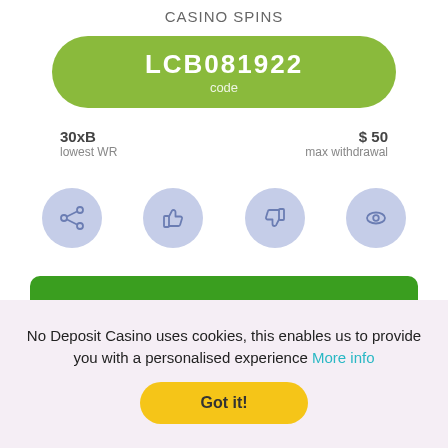CASINO SPINS
LCB081922 code
30xB lowest WR
$ 50 max withdrawal
[Figure (infographic): Four circular icon buttons: share, thumbs up, thumbs down, eye/watch]
CLAIM
25th Aug 2022
EXCLUSIVE
No Deposit Casino uses cookies, this enables us to provide you with a personalised experience More info
Got it!